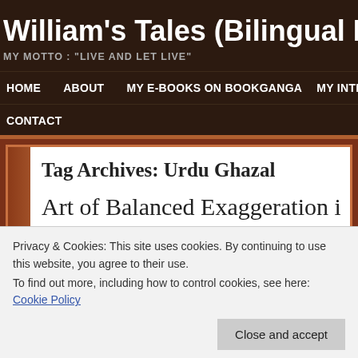William's Tales (Bilingual M
MY MOTTO : "LIVE AND LET LIVE"
HOME   ABOUT   MY E-BOOKS ON BOOKGANGA   MY INTERVI...   CONTACT
Tag Archives: Urdu Ghazal
Art of Balanced Exaggeration in
Privacy & Cookies: This site uses cookies. By continuing to use this website, you agree to their use.
To find out more, including how to control cookies, see here: Cookie Policy
Close and accept
also as any literary work written initially in respective